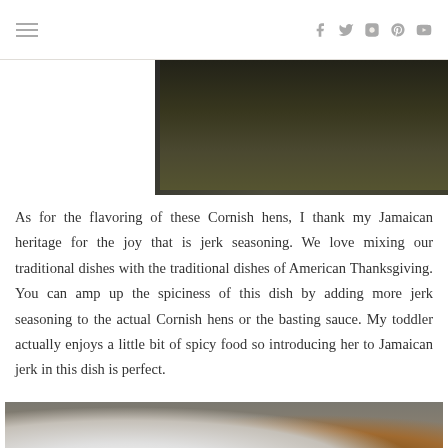Navigation header with hamburger menu and social icons (f, twitter, instagram, pinterest, youtube)
[Figure (photo): Dark overhead photo of Cornish hens cooking in a pan, with a watermark reading FROMHAUTEMAMACOM]
As for the flavoring of these Cornish hens, I thank my Jamaican heritage for the joy that is jerk seasoning. We love mixing our traditional dishes with the traditional dishes of American Thanksgiving. You can amp up the spiciness of this dish by adding more jerk seasoning to the actual Cornish hens or the basting sauce. My toddler actually enjoys a little bit of spicy food so introducing her to Jamaican jerk in this dish is perfect.
[Figure (photo): Overhead photo of a white bowl with light brown powder (jerk seasoning) and a glass jar with dark liquid (basting sauce) on a wooden table surface]